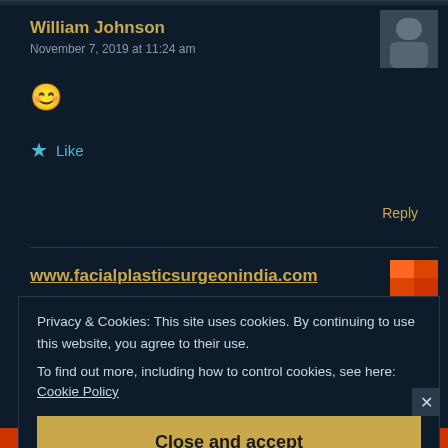William Johnson
November 7, 2019 at 11:24 am
[Figure (photo): Black and white avatar photo of commenter William Johnson]
😊
★ Like
Reply
www.facialplasticsurgeonindia.com
[Figure (photo): Colorful avatar for second commenter]
Privacy & Cookies: This site uses cookies. By continuing to use this website, you agree to their use.
To find out more, including how to control cookies, see here: Cookie Policy
Close and accept